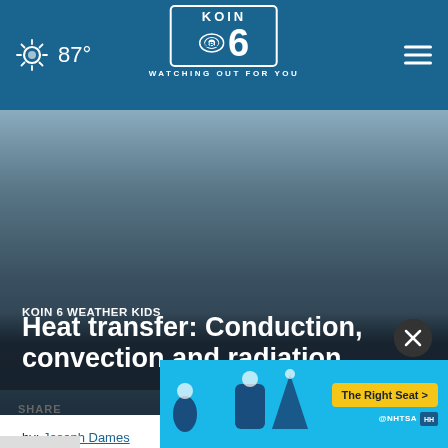87° | KOIN 6 CBS | WATCHING OUT FOR YOU
[Figure (screenshot): Hero image of dark overcast sky with dark blue-grey tones]
KOIN 6 WEATHER KIDS
Heat transfer: Conduction, convection and radiation
by: Joseph Dames
Posted: May 6, 2020 / 06:06 PM PDT
Updated: May 6, 2020 / 06:06 PM PDT
SHARE
[Figure (screenshot): NHTSA advertisement banner: The Right Seat - child car seat safety images on blue background]